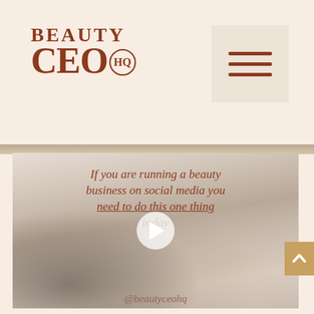[Figure (logo): Beauty CEO HQ logo in dark terracotta/brown serif font]
[Figure (illustration): Hamburger menu icon (three horizontal lines) on beige background square in top right]
[Figure (photo): Video thumbnail/screenshot showing a woman at a desk with a laptop, notebook, and coffee cup. Overlaid italic text reads: 'If you are running a beauty business on social media you need to do this one thing today' with a play button in the center and @beautyceohq watermark at the bottom.]
[Figure (illustration): Gold/tan scroll-to-top button with upward chevron arrow on right side]